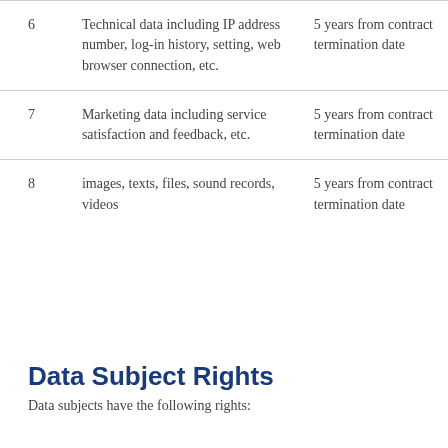| # | Data Type | Retention Period |
| --- | --- | --- |
| 6 | Technical data including IP address number, log-in history, setting, web browser connection, etc. | 5 years from contract termination date |
| 7 | Marketing data including service satisfaction and feedback, etc. | 5 years from contract termination date |
| 8 | images, texts, files, sound records, videos | 5 years from contract termination date |
Data Subject Rights
Data subjects have the following rights: